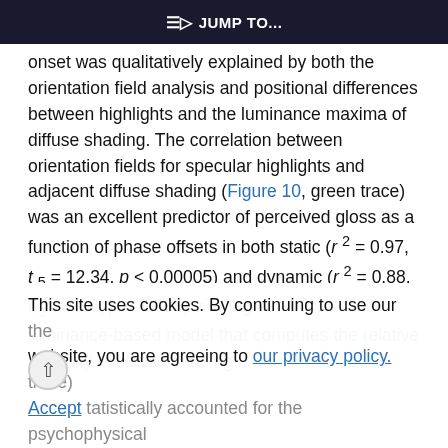JUMP TO...
onset was qualitatively explained by both the orientation field analysis and positional differences between highlights and the luminance maxima of diffuse shading. The correlation between orientation fields for specular highlights and adjacent diffuse shading (Figure 10, green trace) was an excellent predictor of perceived gloss as a function of phase offsets in both static (r² = 0.97, t₅ = 12.34, p < 0.00005) and dynamic (r² = 0.88, t₅ = 5.96, p < 0.005) viewing conditions. The luminance-based model that computes the relative intensity in diffuse shading
This site uses cookies. By continuing to use our website, you are agreeing to our privacy policy. Accept and statistically accounted for the psychophysical